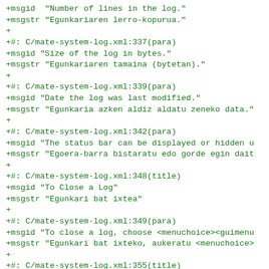+msgid  "Number of lines in the log."
+msgstr "Egunkariaren lerro-kopurua."
+
+#: C/mate-system-log.xml:337(para)
+msgid "Size of the log in bytes."
+msgstr "Egunkariaren tamaina (bytetan)."
+
+#: C/mate-system-log.xml:339(para)
+msgid "Date the log was last modified."
+msgstr "Egunkaria azken aldiz aldatu zeneko data."
+
+#: C/mate-system-log.xml:342(para)
+msgid "The status bar can be displayed or hidden u
+msgstr "Egoera-barra bistaratu edo gorde egin dait
+
+#: C/mate-system-log.xml:348(title)
+msgid "To Close a Log"
+msgstr "Egunkari bat ixtea"
+
+#: C/mate-system-log.xml:349(para)
+msgid "To close a log, choose <menuchoice><guimenu
+msgstr "Egunkari bat ixteko, aukeratu <menuchoice>
+
+#: C/mate-system-log.xml:355(title)
+msgid "To Exit System Log Viewer"
+msgstr "Sistemaren egunkarien ikustailetik irtetea
+
+#: C/mate-system-log.xml:356(para)
+msgid "To exit <application>System Log Viewer</app
+msgstr "<application>Sistemaren egunkarien ikustai
+